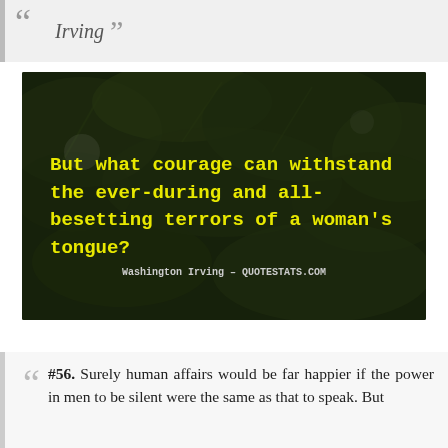Irving ”
[Figure (illustration): Dark green leaf background image with yellow bold text quote: 'But what courage can withstand the ever-during and all-besetting terrors of a woman’s tongue?' attributed to Washington Irving - QUOTESTATS.COM]
#56. Surely human affairs would be far happier if the power in men to be silent were the same as that to speak. But